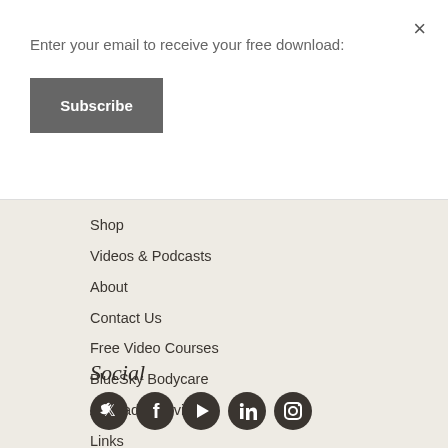Enter your email to receive your free download:
Subscribe
×
Shop
Videos & Podcasts
About
Contact Us
Free Video Courses
BlueSky Bodycare
Airspade Service
Links
Social
[Figure (illustration): Five circular social media icons: Twitter, Facebook, Play/Video, LinkedIn, Instagram]